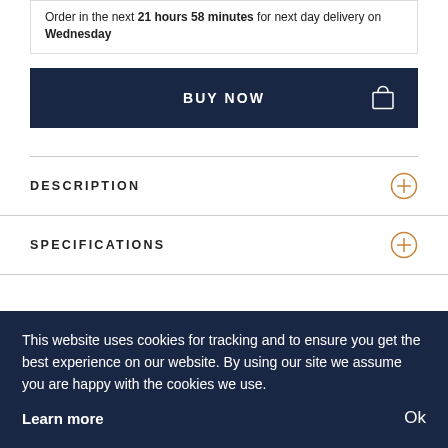Order in the next 21 hours 58 minutes for next day delivery on Wednesday
BUY NOW
DESCRIPTION
SPECIFICATIONS
This website uses cookies for tracking and to ensure you get the best experience on our website. By using our site we assume you are happy with the cookies we use. Learn more Ok